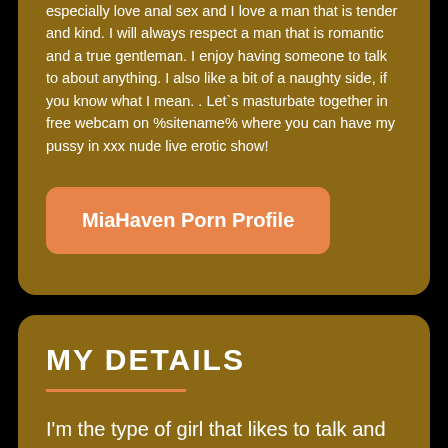especially love anal sex and I love a man that is tender and kind. I will always respect a man that is romantic and a true gentleman. I enjoy having someone to talk to about anything. I also like a bit of a naughty side, if you know what I mean. . Let`s masturbate together in free webcam on %sitename% where you can have my pussy in xxx nude live erotic show!
MiaHaven Porn Profile
MY DETAILS
I'm the type of girl that likes to talk and have fun. I am friendly with anyone, I